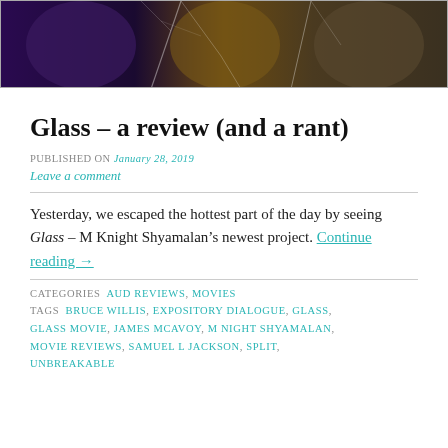[Figure (photo): Movie poster or promotional image for the film Glass, showing three characters' faces in dramatic lighting with a cracked glass overlay effect]
Glass – a review (and a rant)
PUBLISHED ON January 28, 2019
Leave a comment
Yesterday, we escaped the hottest part of the day by seeing Glass – M Knight Shyamalan's newest project. Continue reading →
CATEGORIES AUD REVIEWS, MOVIES
TAGS BRUCE WILLIS, EXPOSITORY DIALOGUE, GLASS, GLASS MOVIE, JAMES MCAVOY, M NIGHT SHYAMALAN, MOVIE REVIEWS, SAMUEL L JACKSON, SPLIT, UNBREAKABLE